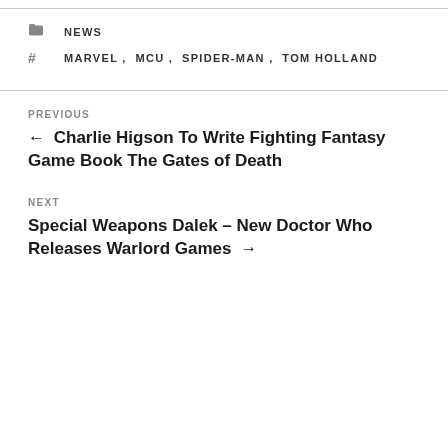NEWS
MARVEL, MCU, SPIDER-MAN, TOM HOLLAND
PREVIOUS
← Charlie Higson To Write Fighting Fantasy Game Book The Gates of Death
NEXT
Special Weapons Dalek – New Doctor Who Releases Warlord Games →